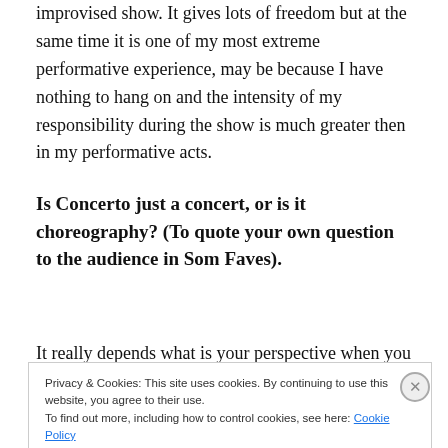improvised show. It gives lots of freedom but at the same time it is one of my most extreme performative experience, may be because I have nothing to hang on and the intensity of my responsibility during the show is much greater then in my performative acts.
Is Concerto just a concert, or is it choreography? (To quote your own question to the audience in Som Faves).
It really depends what is your perspective when you watch
Privacy & Cookies: This site uses cookies. By continuing to use this website, you agree to their use.
To find out more, including how to control cookies, see here: Cookie Policy